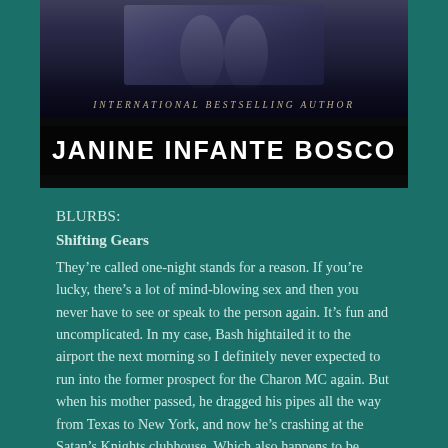[Figure (photo): Book cover image showing jeans-clad figures from waist down against dark background, with text 'INTERNATIONAL BESTSELLING AUTHOR' and author name 'JANINE INFANTE BOSCO' in large bold white letters on black band]
BLURBS:
Shifting Gears
They're called one-night stands for a reason. If you're lucky, there's a lot of mind-blowing sex and then you never have to see or speak to the person again. It's fun and uncomplicated. In my case, Bash hightailed it to the airport the next morning so I definitely never expected to run into the former prospect for the Charon MC again. But when his mother passed, he dragged his pipes all the way from Texas to New York, and now he's crashing at the Satan's Knights clubhouse. Which also happens to be where I work and the scene of our one-night stand.